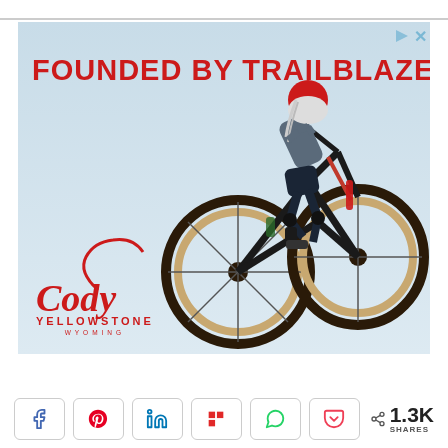[Figure (photo): Advertisement for Cody Yellowstone Wyoming featuring a mountain biker performing a jump against a light blue sky background with text 'FOUNDED BY TRAILBLAZERS' and the Cody Yellowstone Wyoming logo]
< 1.3K SHARES